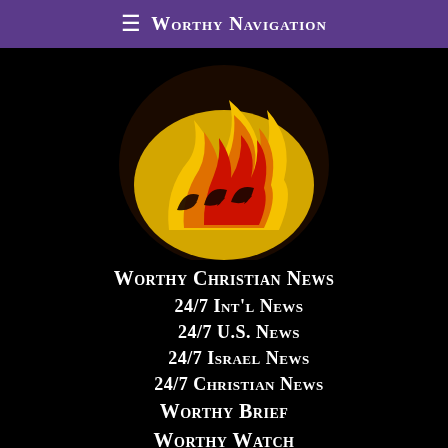≡ Worthy Navigation
[Figure (logo): Worthy Christian News flame/logo: a stylized flame and Hebrew-like lettering in red, orange, yellow gradient on black circular background]
Worthy Christian News
24/7 Int'l News
24/7 U.S. News
24/7 Israel News
24/7 Christian News
Worthy Brief
Worthy Watch
Worthy Insights
Lazman HaZeh Music